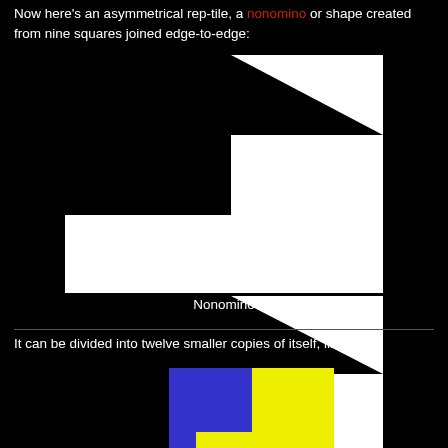Now here's an asymmetrical rep-tile, a nonomino or shape created from nine squares joined edge-to-edge:
[Figure (illustration): A white staircase-stepped nonomino shape on black background — three rectangular sections joined edge-to-edge forming a staircase pattern stepping from lower-left to upper-right.]
Nonomino
It can be divided into twelve smaller copies of itself, like this:
[Figure (illustration): The nonomino shape divided into twelve smaller copies, colored alternately blue and yellow, on black background — partial view showing upper-right portion.]